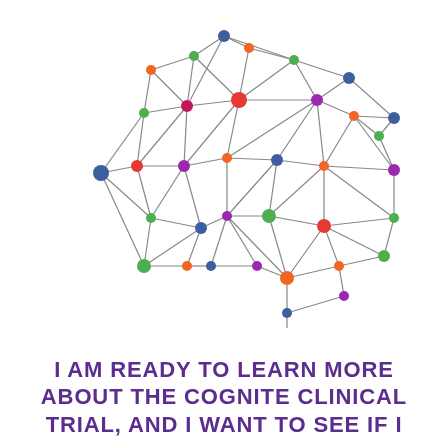[Figure (network-graph): A brain shape formed by a network graph with colored nodes (blue, green, orange, red, magenta/purple) connected by gray lines forming triangular mesh, representing a neural network or brain connectivity diagram.]
I AM READY TO LEARN MORE ABOUT THE COGNITE CLINICAL TRIAL, AND I WANT TO SEE IF I